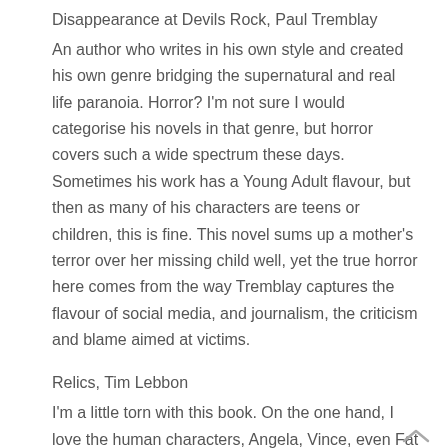Disappearance at Devils Rock, Paul Tremblay
An author who writes in his own style and created his own genre bridging the supernatural and real life paranoia. Horror? I'm not sure I would categorise his novels in that genre, but horror covers such a wide spectrum these days. Sometimes his work has a Young Adult flavour, but then as many of his characters are teens or children, this is fine. This novel sums up a mother's terror over her missing child well, yet the true horror here comes from the way Tremblay captures the flavour of social media, and journalism, the criticism and blame aimed at victims.
Relics, Tim Lebbon
I'm a little torn with this book. On the one hand, I love the human characters, Angela, Vince, even Fat Frederick, but when this seeming thriller becomes supernatural, the reader